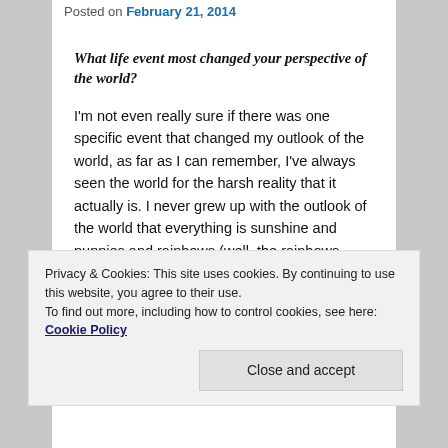Posted on February 21, 2014
What life event most changed your perspective of the world?
I'm not even really sure if there was one specific event that changed my outlook of the world, as far as I can remember, I've always seen the world for the harsh reality that it actually is. I never grew up with the outlook of the world that everything is sunshine and puppies and rainbows (well, the rainbows came later in life….), but I think that it's hard to even have that sort of view of the world, when all you see on the news is death and destruction. Yes, you can always choose to completely ignore mainstream media, because they rarely report on anything positive or uplifting, but isn't that, in turn, just
Privacy & Cookies: This site uses cookies. By continuing to use this website, you agree to their use.
To find out more, including how to control cookies, see here: Cookie Policy